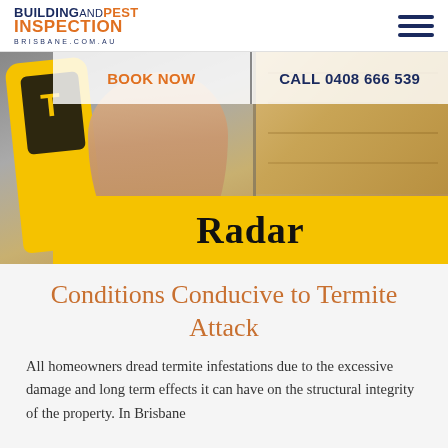[Figure (logo): Building and Pest Inspection Brisbane logo with orange and navy text]
[Figure (photo): Hero image showing person holding a yellow termite detection radar device with a yellow 'Radar' label band, next to a wood-damaged floor panel. BOOK NOW and CALL 0408 666 539 navigation overlaid on top.]
Conditions Conducive to Termite Attack
All homeowners dread termite infestations due to the excessive damage and long term effects it can have on the structural integrity of the property. In Brisbane